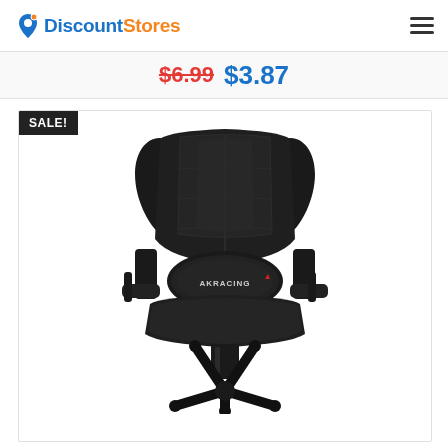DiscountStores
$6.99 $3.87
[Figure (photo): AKRacing Core Series SX Gaming Chair in black, shown from front view with lumbar pillow and adjustable armrests]
Akracing – Core Series SX Gaming Chair – Black